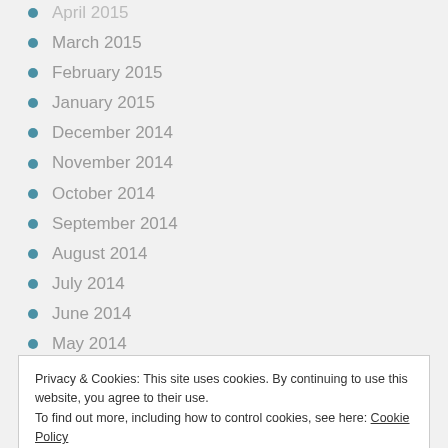April 2015
March 2015
February 2015
January 2015
December 2014
November 2014
October 2014
September 2014
August 2014
July 2014
June 2014
May 2014
April 2014
Privacy & Cookies: This site uses cookies. By continuing to use this website, you agree to their use.
To find out more, including how to control cookies, see here: Cookie Policy
October 2013